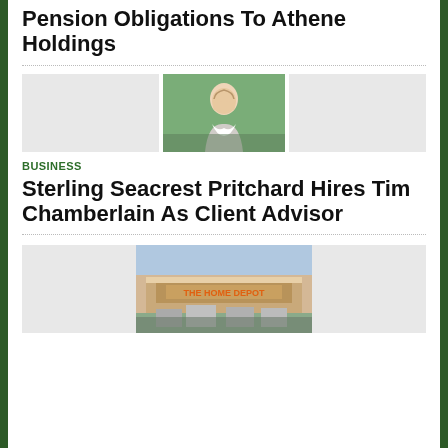Lockheed Martin Transfers $1.6 Billion In Pension Obligations To Athene Holdings
[Figure (photo): Three-column image row: left gray placeholder, center headshot of Tim Chamberlain (man in blazer smiling outdoors with green foliage background), right gray placeholder]
BUSINESS
Sterling Seacrest Pritchard Hires Tim Chamberlain As Client Advisor
[Figure (photo): Three-column image row: left gray placeholder, center photo of a Home Depot store exterior with parking lot and vehicles, right gray placeholder]